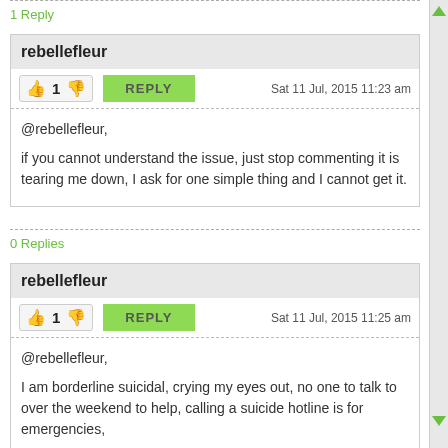1 Reply
rebellefleur
Sat 11 Jul, 2015 11:23 am
@rebellefleur,
if you cannot understand the issue, just stop commenting it is tearing me down, I ask for one simple thing and I cannot get it.
0 Replies
rebellefleur
Sat 11 Jul, 2015 11:25 am
@rebellefleur,
I am borderline suicidal, crying my eyes out, no one to talk to over the weekend to help, calling a suicide hotline is for emergencies,